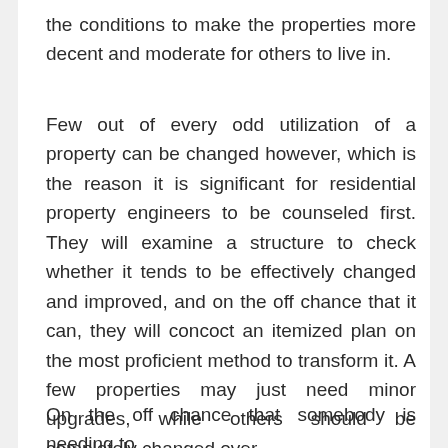the conditions to make the properties more decent and moderate for others to live in.
Few out of every odd utilization of a property can be changed however, which is the reason it is significant for residential property engineers to be counseled first. They will examine a structure to check whether it tends to be effectively changed and improved, and on the off chance that it can, they will concoct an itemized plan on the most proficient method to transform it. A few properties may just need minor upgrades, while others should be completely changed over.
On the off chance that somebody is needing to